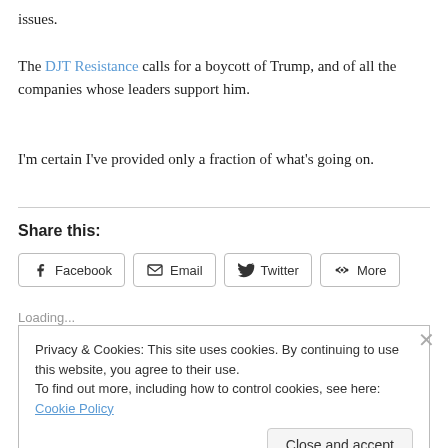issues.
The DJT Resistance calls for a boycott of Trump, and of all the companies whose leaders support him.
I'm certain I've provided only a fraction of what's going on.
Share this:
Facebook  Email  Twitter  More
Loading...
Privacy & Cookies: This site uses cookies. By continuing to use this website, you agree to their use.
To find out more, including how to control cookies, see here: Cookie Policy
Close and accept